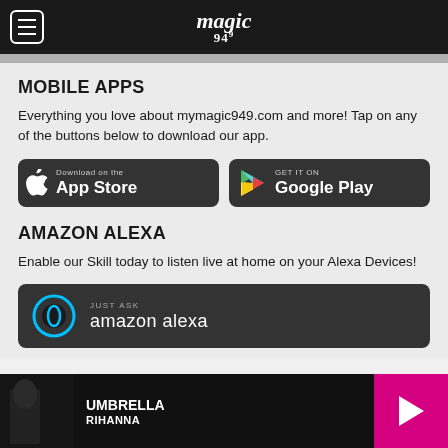magic 949 — hamburger menu
MOBILE APPS
Everything you love about mymagic949.com and more! Tap on any of the buttons below to download our app.
[Figure (screenshot): Download on the App Store button]
[Figure (screenshot): Get it on Google Play button]
AMAZON ALEXA
Enable our Skill today to listen live at home on your Alexa Devices!
[Figure (screenshot): Just Ask Amazon Alexa button]
UMBRELLA — RIHANNA (now playing bar)